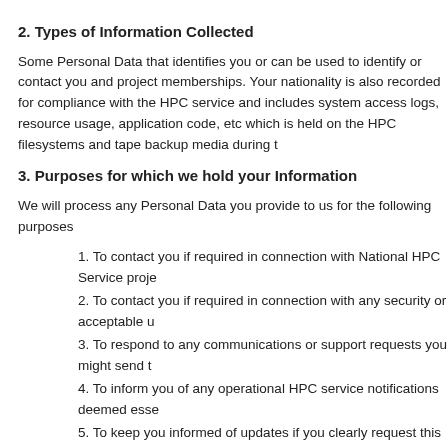2. Types of Information Collected
Some Personal Data that identifies you or can be used to identify or contact you and project memberships. Your nationality is also recorded for compliance with the HPC service and includes system access logs, resource usage, application code, etc which is held on the HPC filesystems and tape backup media during t
3. Purposes for which we hold your Information
We will process any Personal Data you provide to us for the following purposes
1. To contact you if required in connection with National HPC Service proje
2. To contact you if required in connection with any security or acceptable u
3. To respond to any communications or support requests you might send t
4. To inform you of any operational HPC service notifications deemed esse
5. To keep you informed of updates if you clearly request this by signing up
We use the various types of Non-Personal Data in a variety of ways:
1. Resource usage in an aggregate form is used to provide system usage r
2. Helpdesk and support data is used in aggregate form to produce reports
3. Access logs, system accounting logs and command execution history fil troubleshooting faults or technical support requests or as part of any sec